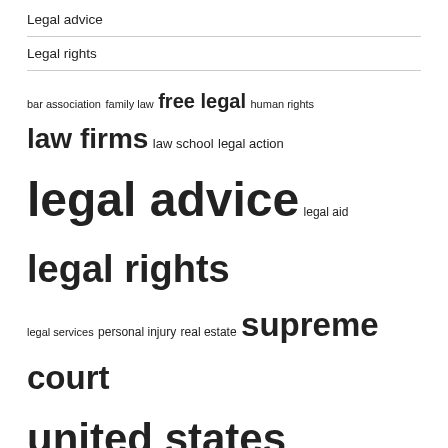Legal advice
Legal rights
[Figure (infographic): Tag cloud with legal terms in varying font sizes indicating frequency/importance: bar association, family law, free legal, human rights, law firms, law school, legal action, legal advice, legal aid, legal rights, legal services, personal injury, real estate, supreme court, united states]
RECENT POSTS
Law Firm Recommends Restaurants Prepare for PFAS Regulations
Villarreal Law Firm, a team of leading accident attorneys in Brownsville, announces new publicity milestones